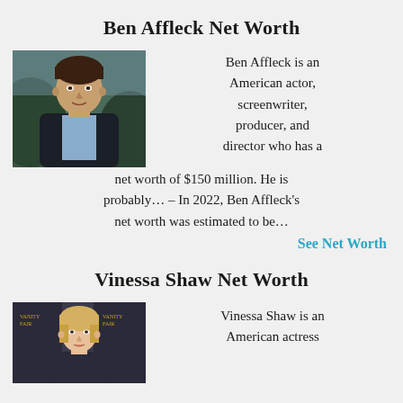Ben Affleck Net Worth
[Figure (photo): Photo of Ben Affleck, a man in a dark suit against a green outdoor background]
Ben Affleck is an American actor, screenwriter, producer, and director who has a net worth of $150 million. He is probably… – In 2022, Ben Affleck's net worth was estimated to be…
See Net Worth
Vinessa Shaw Net Worth
[Figure (photo): Photo of Vinessa Shaw, a blonde woman at a Vanity Fair event]
Vinessa Shaw is an American actress